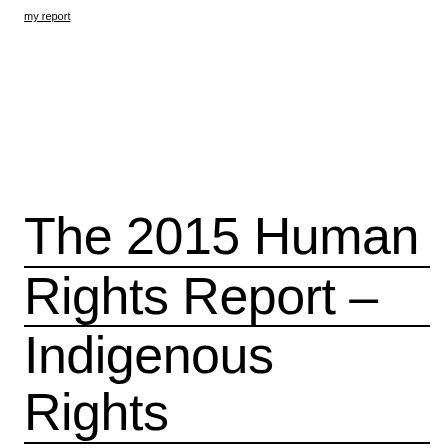my report
The 2015 Human Rights Report – Indigenous Rights 2014/5: Death by a Thousand Paper